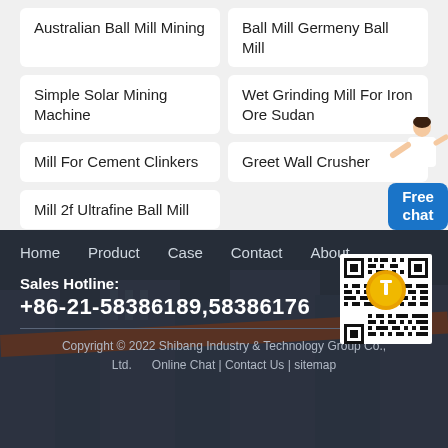Australian Ball Mill Mining
Ball Mill Germeny Ball Mill
Simple Solar Mining Machine
Wet Grinding Mill For Iron Ore Sudan
Mill For Cement Clinkers
Greet Wall Crusher
Mill 2f Ultrafine Ball Mill
[Figure (other): Customer service representative standing, pointing gesture]
Free chat
Home   Product   Case   Contact   About
Sales Hotline:
+86-21-58386189,58386176
[Figure (other): QR code with circular logo overlay]
Copyright © 2022 Shibang Industry & Technology Group Co., Ltd.   Online Chat | Contact Us | sitemap